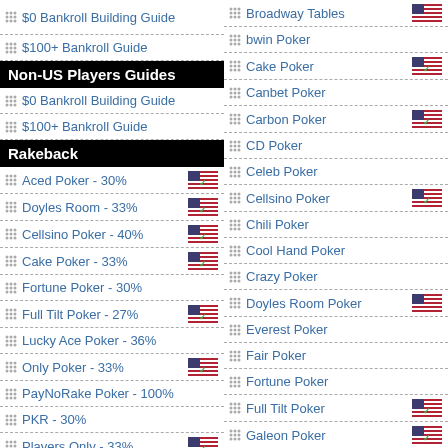$0 Bankroll Building Guide
$100+ Bankroll Guide
Non-US Players Guides
$0 Bankroll Building Guide
$100+ Bankroll Guide
Rakeback
Aced Poker - 30%
Doyles Room - 33%
Cellsino Poker - 40%
Cake Poker - 33%
Fortune Poker - 30%
Full Tilt Poker - 27%
Lucky Ace Poker - 36%
Only Poker - 33%
PayNoRake Poker - 100%
PKR - 30%
Players Only - 33%
True Poker - 30%
Broadway Tables
bwin Poker
Cake Poker
Canbet Poker
Carbon Poker
CD Poker
Celeb Poker
Cellsino Poker
Chili Poker
Cool Hand Poker
Crazy Poker
Doyles Room Poker
Everest Poker
Fair Poker
Fortune Poker
Full Tilt Poker
Galeon Poker
Go Hard Poker
Golden Tiger Poker